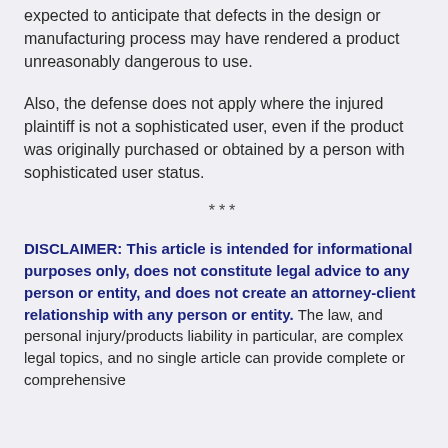expected to anticipate that defects in the design or manufacturing process may have rendered a product unreasonably dangerous to use.
Also, the defense does not apply where the injured plaintiff is not a sophisticated user, even if the product was originally purchased or obtained by a person with sophisticated user status.
***
DISCLAIMER: This article is intended for informational purposes only, does not constitute legal advice to any person or entity, and does not create an attorney-client relationship with any person or entity. The law, and personal injury/products liability in particular, are complex legal topics, and no single article can provide complete or comprehensive